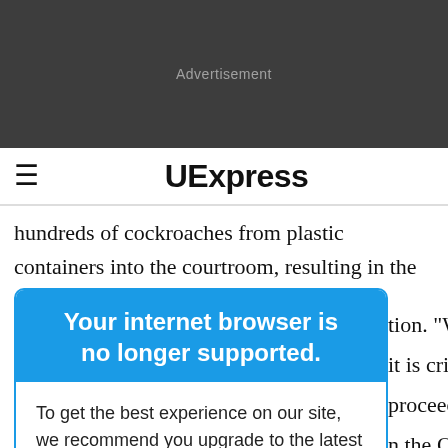[Figure (other): Dark grey advertisement banner placeholder with 'Advertisement' text in light grey]
≡  UExpress
hundreds of cockroaches from plastic containers into the courtroom, resulting in the courthouse being
Your internet browser is no longer supported.
To get the best experience on our site, we recommend you upgrade to the latest version.
tion. "What it is criminal proceeding and n the Office of /8/2022]